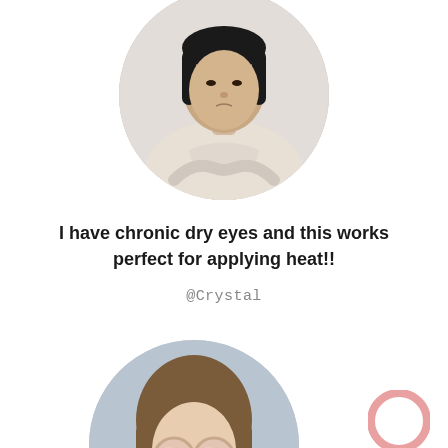[Figure (photo): Circular cropped profile photo of an Asian woman with short black hair wearing a cream/beige knit sweater, upper body visible, light gray background]
I have chronic dry eyes and this works perfect for applying heat!!
@Crystal
[Figure (photo): Circular cropped profile photo of a young woman with long brown hair wearing round rose-gold mirrored sunglasses, light blue-gray background]
[Figure (logo): Pink/salmon colored ring/donut shape logo in lower right corner]